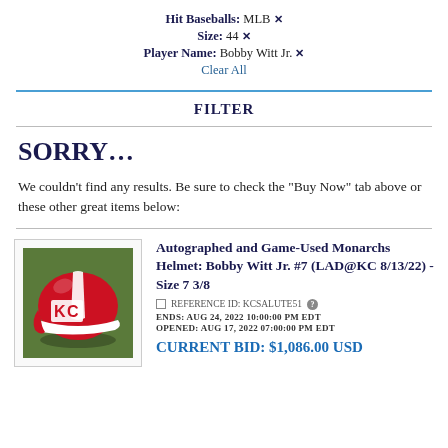Hit Baseballs: MLB ✕
Size: 44 ✕
Player Name: Bobby Witt Jr. ✕
Clear All
FILTER
SORRY...
We couldn't find any results. Be sure to check the "Buy Now" tab above or these other great items below:
[Figure (photo): A red and white Kansas City Monarchs helmet with KC logo, resting on grass, game-used autographed baseball helmet]
Autographed and Game-Used Monarchs Helmet: Bobby Witt Jr. #7 (LAD@KC 8/13/22) - Size 7 3/8
□ REFERENCE ID: KCSALUTE51 ?
ENDS: AUG 24, 2022 10:00:00 PM EDT
OPENED: AUG 17, 2022 07:00:00 PM EDT
CURRENT BID: $1,086.00 USD